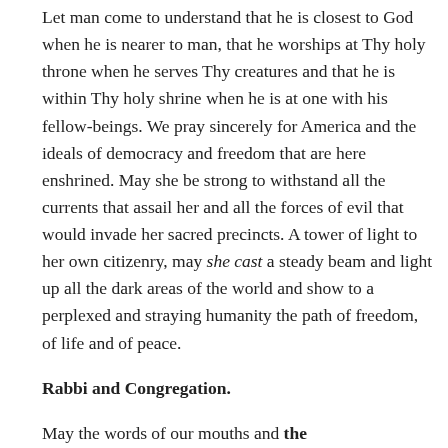Let man come to understand that he is closest to God when he is nearer to man, that he worships at Thy holy throne when he serves Thy creatures and that he is within Thy holy shrine when he is at one with his fellow-beings. We pray sincerely for America and the ideals of democracy and freedom that are here enshrined. May she be strong to withstand all the currents that assail her and all the forces of evil that would invade her sacred precincts. A tower of light to her own citizenry, may she cast a steady beam and light up all the dark areas of the world and show to a perplexed and straying humanity the path of freedom, of life and of peace.
Rabbi and Congregation.
May the words of our mouths and the